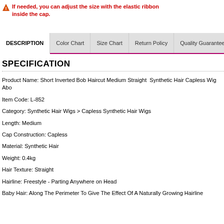If needed, you can adjust the size with the elastic ribbon inside the cap.
DESCRIPTION | Color Chart | Size Chart | Return Policy | Quality Guarantee
SPECIFICATION
Product Name: Short Inverted Bob Haircut Medium Straight Synthetic Hair Capless Wig Abo...
Item Code: L-852
Category: Synthetic Hair Wigs > Capless Synthetic Hair Wigs
Length: Medium
Cap Construction: Capless
Material: Synthetic Hair
Weight: 0.4kg
Hair Texture: Straight
Hairline: Freestyle - Parting Anywhere on Head
Baby Hair: Along The Perimeter To Give The Effect Of A Naturally Growing Hairline